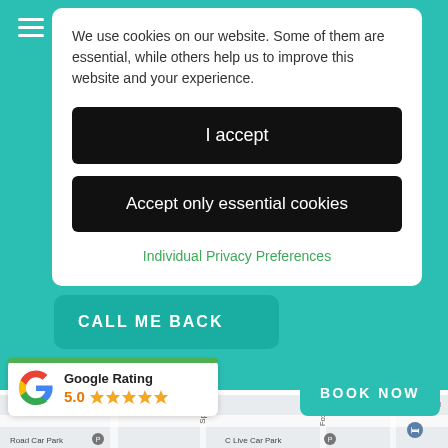We use cookies on our website. Some of them are essential, while others help us to improve this website and your experience.
I accept
Accept only essential cookies
Individual Privacy Preferences
CALL ME BACK
[Figure (map): Google Maps street map showing local area with roads labeled Springf, Foxend, Cland, Road Car Park, C Live Car Park]
Google Rating 5.0
BOOK NOW